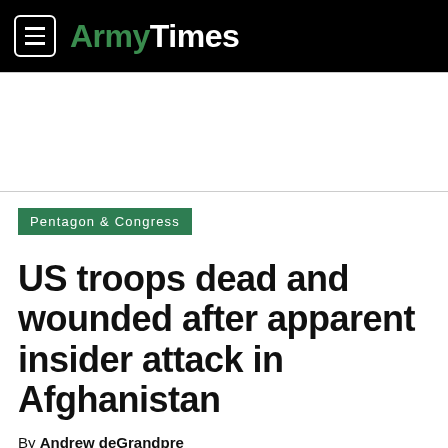ArmyTimes
Pentagon & Congress
US troops dead and wounded after apparent insider attack in Afghanistan
By Andrew deGrandpre